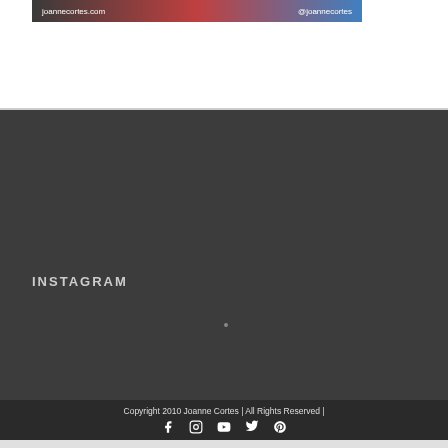[Figure (illustration): Banner image showing joannecortes.com and @joannecortes text on a colorful background]
INSTAGRAM
Copyright 2010 Joanne Cortes | All Rights Reserved |
[Figure (illustration): Social media icons: Facebook, Instagram, YouTube, Twitter, Pinterest]